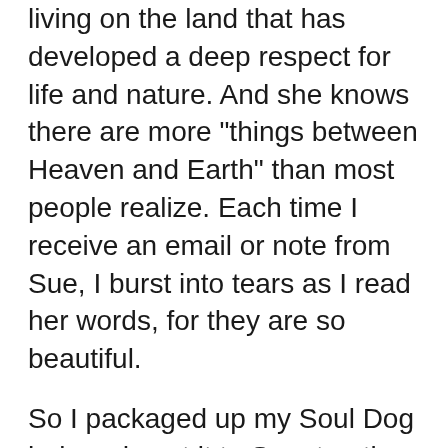living on the land that has developed a deep respect for life and nature. And she knows there are more "things between Heaven and Earth" than most people realize. Each time I receive an email or note from Sue, I burst into tears as I read her words, for they are so beautiful.
So I packaged up my Soul Dog hair and sent it to Sue, trusting that she understood how valuable it was.  And she did.